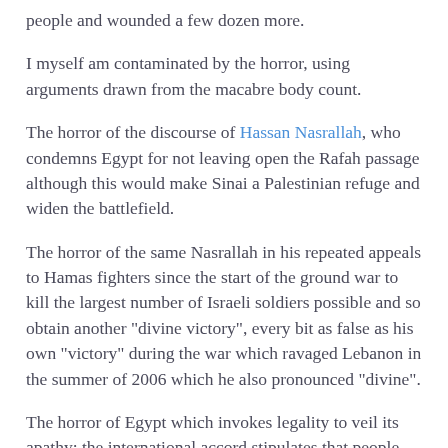people and wounded a few dozen more.
I myself am contaminated by the horror, using arguments drawn from the macabre body count.
The horror of the discourse of Hassan Nasrallah, who condemns Egypt for not leaving open the Rafah passage although this would make Sinai a Palestinian refuge and widen the battlefield.
The horror of the same Nasrallah in his repeated appeals to Hamas fighters since the start of the ground war to kill the largest number of Israeli soldiers possible and so obtain another "divine victory", every bit as false as his own "victory" during the war which ravaged Lebanon in the summer of 2006 which he also pronounced "divine".
The horror of Egypt which invokes legality to veil its apathy: the international accord stipulates that people may only cross the border post at Rafah if it is controlled by the Palestinian Authority together with representatives of the European Union, and with the consent of Israel. But after its